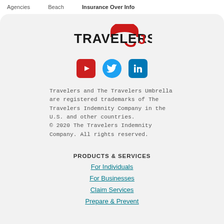Agencies   Beach   Insurance Over Info
[Figure (logo): Travelers logo with red umbrella icon and black bold text TRAVELERS]
[Figure (infographic): Social media icons: YouTube (red), Twitter (blue bird), LinkedIn (blue)]
Travelers and The Travelers Umbrella are registered trademarks of The Travelers Indemnity Company in the U.S. and other countries.
© 2020 The Travelers Indemnity Company. All rights reserved.
PRODUCTS & SERVICES
For Individuals
For Businesses
Claim Services
Prepare & Prevent